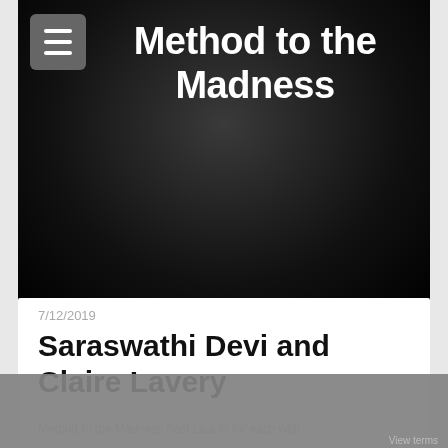[Figure (screenshot): Podcast app screenshot showing 'Method to the Madness' podcast banner with black/dark radial gradient background, hamburger menu icon in top-left, and large white bold title text]
7/12/2019
Saraswathi Devi and Claire Lavery
Method to the Madness host Lisa Ki for each with
Method To The Madness
Leila Salazar-Lopez
January 17, 2020 • 31 min • Listen later
Acast
View terms